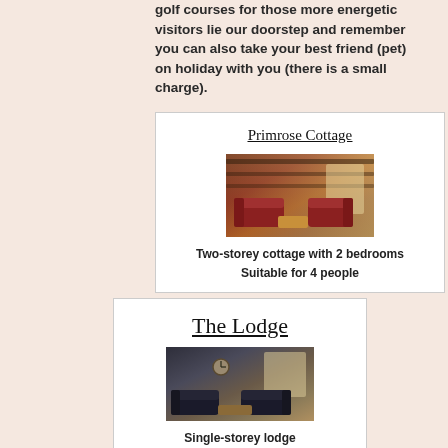golf courses for those more energetic visitors lie our doorstep and remember you can also take your best friend (pet) on holiday with you (there is a small charge).
Primrose Cottage
[Figure (photo): Interior photo of Primrose Cottage showing a living room with red sofas, wooden beamed ceiling, and natural light from windows.]
Two-storey cottage with 2 bedrooms
Suitable for 4 people
The Lodge
[Figure (photo): Interior photo of The Lodge showing a living room with dark leather sofas and a clock on the wall.]
Single-storey lodge